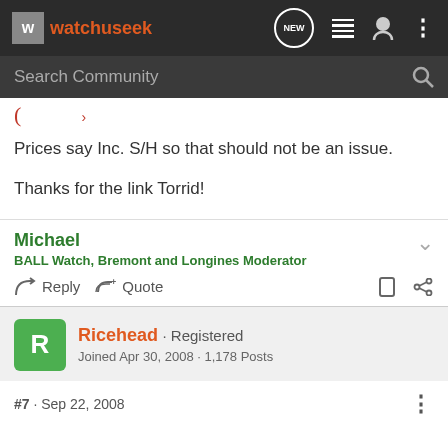watchuseek
Search Community
Prices say Inc. S/H so that should not be an issue.

Thanks for the link Torrid!
Michael
BALL Watch, Bremont and Longines Moderator
Reply  Quote
Ricehead · Registered
Joined Apr 30, 2008 · 1,178 Posts
#7 · Sep 22, 2008